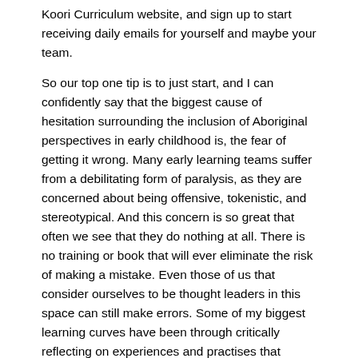Koori Curriculum website, and sign up to start receiving daily emails for yourself and maybe your team.
So our top one tip is to just start, and I can confidently say that the biggest cause of hesitation surrounding the inclusion of Aboriginal perspectives in early childhood is, the fear of getting it wrong. Many early learning teams suffer from a debilitating form of paralysis, as they are concerned about being offensive, tokenistic, and stereotypical. And this concern is so great that often we see that they do nothing at all. There is no training or book that will ever eliminate the risk of making a mistake. Even those of us that consider ourselves to be thought leaders in this space can still make errors. Some of my biggest learning curves have been through critically reflecting on experiences and practises that weren't so great. For me they affirmed what this work is and should be and what it is not.
This note from Danny Duncan says something that I